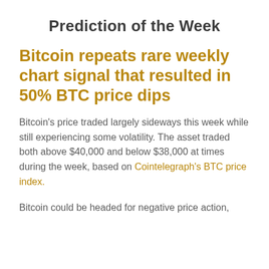Prediction of the Week
Bitcoin repeats rare weekly chart signal that resulted in 50% BTC price dips
Bitcoin's price traded largely sideways this week while still experiencing some volatility. The asset traded both above $40,000 and below $38,000 at times during the week, based on Cointelegraph's BTC price index.
Bitcoin could be headed for negative price action,